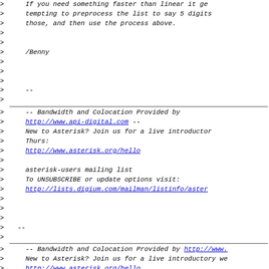> If you need something faster than linear it gets tempting to preprocess the list to say 5 digits those, and then use the process above.
> /Benny
> --
> -- Bandwidth and Colocation Provided by http://www.api-digital.com -- New to Asterisk? Join us for a live introductory webcast Thurs: http://www.asterisk.org/hello asterisk-users mailing list To UNSUBSCRIBE or update options visit: http://lists.digium.com/mailman/listinfo/asterisk-users
> --
> -- Bandwidth and Colocation Provided by http://www. New to Asterisk? Join us for a live introductory we http://www.asterisk.org/hello asterisk-users mailing list To UNSUBSCRIBE or update options visit: http://lists.digium.com/mailman/listinfo/asterisk-